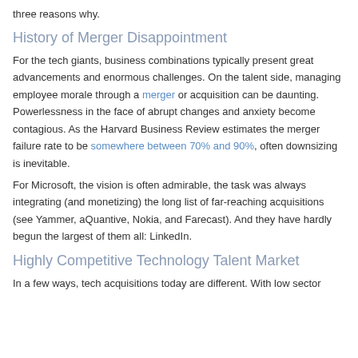three reasons why.
History of Merger Disappointment
For the tech giants, business combinations typically present great advancements and enormous challenges. On the talent side, managing employee morale through a merger or acquisition can be daunting. Powerlessness in the face of abrupt changes and anxiety become contagious. As the Harvard Business Review estimates the merger failure rate to be somewhere between 70% and 90%, often downsizing is inevitable.
For Microsoft, the vision is often admirable, the task was always integrating (and monetizing) the long list of far-reaching acquisitions (see Yammer, aQuantive, Nokia, and Farecast). And they have hardly begun the largest of them all: LinkedIn.
Highly Competitive Technology Talent Market
In a few ways, tech acquisitions today are different. With low sector